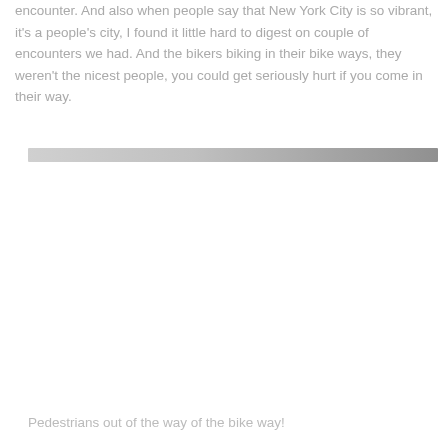encounter. And also when people say that New York City is so vibrant, it's a people's city, I found it little hard to digest on couple of encounters we had. And the bikers biking in their bike ways, they weren't the nicest people, you could get seriously hurt if you come in their way.
[Figure (other): A horizontal gradient divider bar, light gray to darker gray from left to right]
Pedestrians out of the way of the bike way!